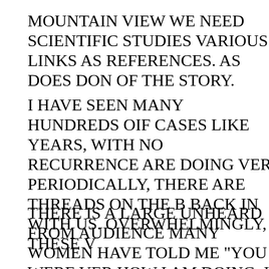MOUNTAIN VIEW WE NEED SCIENTIFIC STUDIES VARIOUS LINKS AS REFERENCES. AS DOES DON OF THE STORY.
I HAVE SEEN MANY HUNDREDS OIF CASES LIKE YEARS, WITH NO RECURRENCE ARE DOING VER PERIODICALLY, THERE ARE THREADS ON THE B BACK IN WITH US. OVERWHELMINGLY, THESE W
THERE IS A LARGE UNHEARD FROM AUDIENCE MANY WOMEN HAVE TOLD ME "YOU WERE VER HOW I AM DOING. I DON'T WANT TO TALK ABOU IF I NEED YOUR HELP AGAIN YOU WILL GIVE IT KNOW I WILL."
I FEEL IT IS VERY IMPORTANT THAT THE WOME THE WORLD WORKING ON THE PROBLEMS OUR